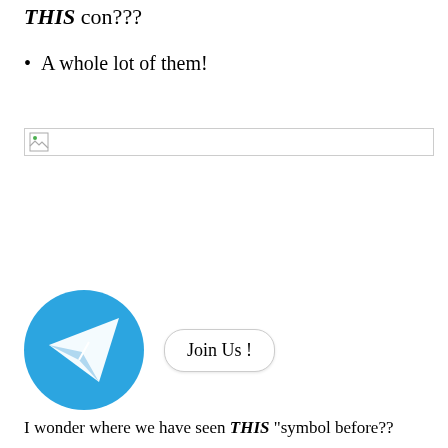THIS con???
A whole lot of them!
[Figure (other): Broken/missing image placeholder with border]
[Figure (illustration): Telegram logo (blue circle with white paper plane icon) next to a 'Join Us!' button]
I wonder where we have seen THIS “symbol before??